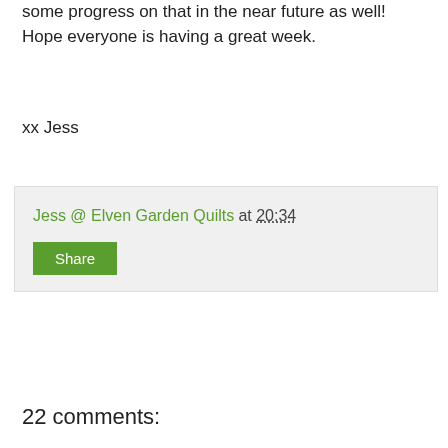some progress on that in the near future as well! Hope everyone is having a great week.
xx Jess
Jess @ Elven Garden Quilts at 20:34
Share
22 comments:
Alyce @ Blossom Heart Quilts 22 August 2013 at 21:03
Yeah hurry up and get on Instagram - it's the coolest place to be for visual quilter people!
Reply
Susan 22 August 2013 at 21:03
I'm now following you on Instagram. I am patchnplay. And I use my christian and surname on pinterest, if you want to